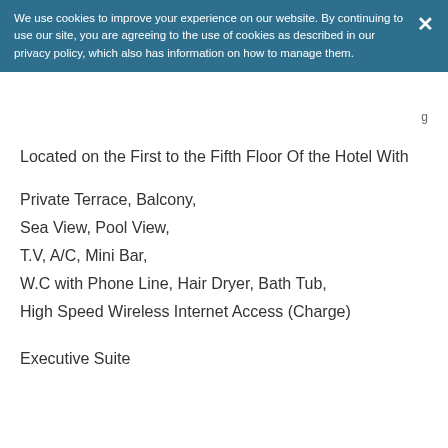We use cookies to improve your experience on our website. By continuing to use our site, you are agreeing to the use of cookies as described in our privacy policy, which also has information on how to manage them.
Located on the First to the Fifth Floor Of the Hotel With
Private Terrace, Balcony,
Sea View, Pool View,
T.V, A/C, Mini Bar,
W.C with Phone Line, Hair Dryer, Bath Tub,
High Speed Wireless Internet Access (Charge)
Executive Suite